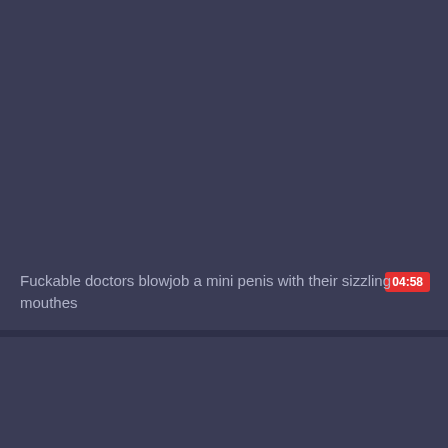[Figure (screenshot): Video thumbnail showing a dark blue-gray background, a red duration badge reading 04:58 in the upper right of the thumbnail area, and a video title below.]
Fuckable doctors blowjob a mini penis with their sizzling mouthes